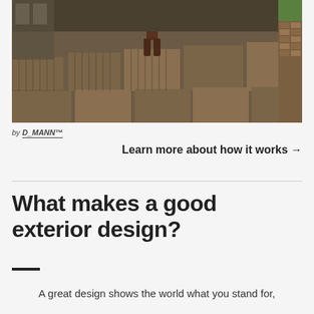[Figure (screenshot): 3D rendered exterior patio scene with wooden deck tiles, a person standing in the background, a picnic table, and a brick planter with green grass on the right side.]
by D_MANN™
Learn more about how it works →
What makes a good exterior design?
A great design shows the world what you stand for,